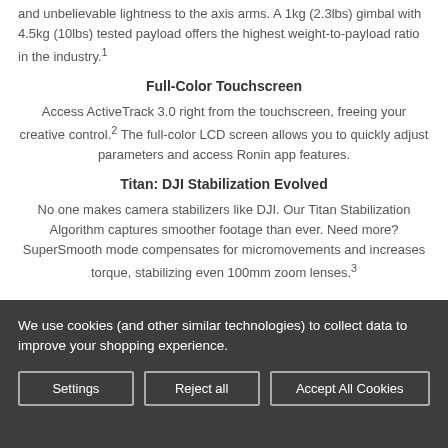and unbelievable lightness to the axis arms. A 1kg (2.3lbs) gimbal with 4.5kg (10lbs) tested payload offers the highest weight-to-payload ratio in the industry.¹
Full-Color Touchscreen
Access ActiveTrack 3.0 right from the touchscreen, freeing your creative control.² The full-color LCD screen allows you to quickly adjust parameters and access Ronin app features.
Titan: DJI Stabilization Evolved
No one makes camera stabilizers like DJI. Our Titan Stabilization Algorithm captures smoother footage than ever. Need more? SuperSmooth mode compensates for micromovements and increases torque, stabilizing even 100mm zoom lenses.³
We use cookies (and other similar technologies) to collect data to improve your shopping experience.